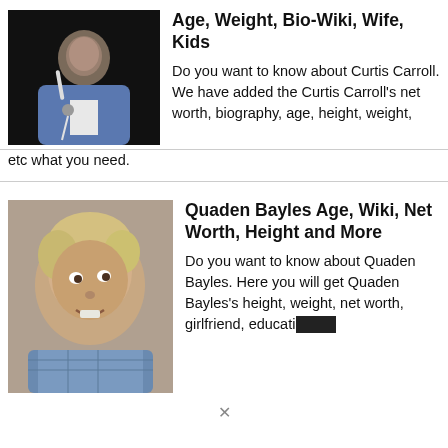[Figure (photo): Photo of Curtis Carroll, a Black man in a blue shirt holding a microphone, performing on stage against a dark background]
Age, Weight, Bio-Wiki, Wife, Kids
Do you want to know about Curtis Carroll. We have added the Curtis Carroll's net worth, biography, age, height, weight, etc what you need.
[Figure (photo): Photo of Quaden Bayles, a young child with a round face and light hair, wearing a blue plaid shirt, looking at the camera]
Quaden Bayles Age, Wiki, Net Worth, Height and More
Do you want to know about Quaden Bayles. Here you will get Quaden Bayles's height, weight, net worth, girlfriend, educational